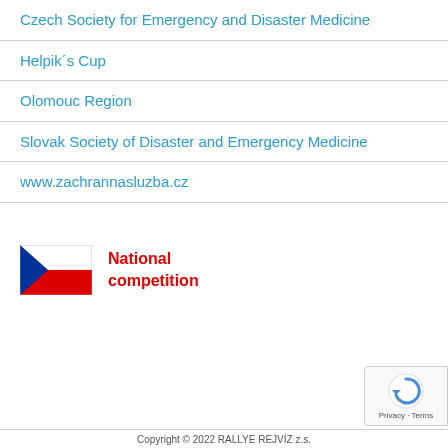Czech Society for Emergency and Disaster Medicine
Helpik´s Cup
Olomouc Region
Slovak Society of Disaster and Emergency Medicine
www.zachrannasluzba.cz
[Figure (illustration): Czech national flag alongside bold red text reading 'National competition']
Copyright © 2022 RALLYE REJVÍZ z.s.